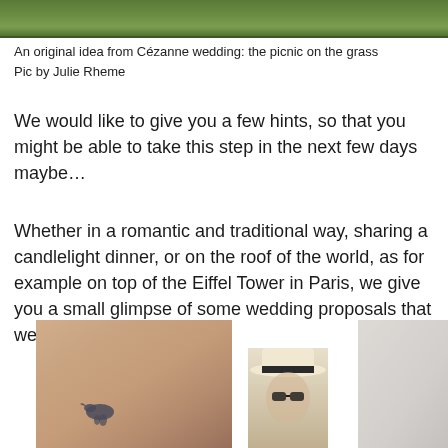[Figure (photo): Top portion of an outdoor photo showing green grass, partially cropped at the top of the page]
An original idea from Cézanne wedding: the picnic on the grass
Pic by Julie Rheme
We would like to give you a few hints, so that you might be able to take this step in the next few days maybe…
Whether in a romantic and traditional way, sharing a candlelight dinner, or on the roof of the world, as for example on top of the Eiffel Tower in Paris, we give you a small glimpse of some wedding proposals that we have listed for you!
[Figure (photo): Two partially visible photos at the bottom of the page: left photo shows a reddish-brown brick wall with a bird, center shows a person wearing a wide-brimmed hat with a dark band, right photo shows a light grey/white wall]